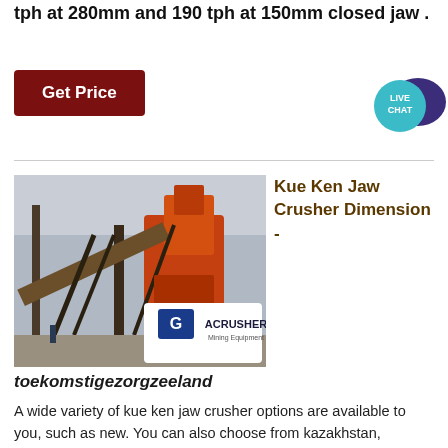tph at 280mm and 190 tph at 150mm closed jaw .
[Figure (other): Dark red 'Get Price' button]
[Figure (other): Live Chat speech bubble icon in teal and dark purple]
[Figure (photo): Industrial jaw crusher machinery (red/orange) at a plant site with ACRUSHER Mining Equipment logo overlay]
Kue Ken Jaw Crusher Dimension -
toekomstigezorgzeeland
A wide variety of kue ken jaw crusher options are available to you, such as new. You can also choose from kazakhstan, kyrgyzstan, and philippines kue ken jaw crusher, as well as from building material shops, energy & mining, and